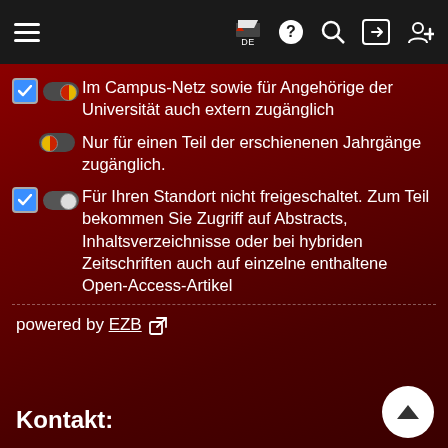[Figure (screenshot): Navigation bar with hamburger menu, flag/DE language icon, help, search, login, and user-add icons on dark background]
Im Campus-Netz sowie für Angehörige der Universität auch extern zugänglich
Nur für einen Teil der erschienenen Jahrgänge zugänglich.
Für Ihren Standort nicht freigeschaltet. Zum Teil bekommen Sie Zugriff auf Abstracts, Inhaltsverzeichnisse oder bei hybriden Zeitschriften auch auf einzelne enthaltene Open-Access-Artikel
powered by EZB ↗
Kontakt: